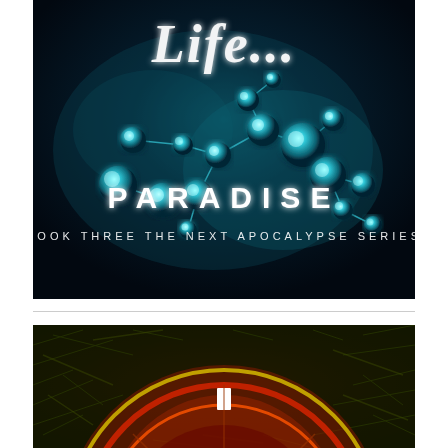[Figure (illustration): Book cover for 'Life... Paradise' - Book Three The Next Apocalypse Series. Dark teal/cyan background with glowing molecular structure spheres. Title text 'Life...' in large white letters at top, 'PARADISE' in spaced white capitals in center, 'BOOK THREE THE NEXT APOCALYPSE SERIES' in smaller spaced white text at bottom.]
[Figure (illustration): Partial book cover showing a dark image with circular clock-like or roulette wheel design with yellow, red and orange concentric rings against a dark background with greenish chaotic elements. White rectangular markers visible on the circle.]